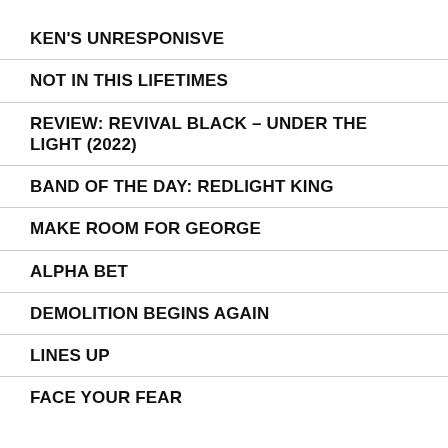KEN'S UNRESPONISVE
NOT IN THIS LIFETIMES
REVIEW: REVIVAL BLACK – UNDER THE LIGHT (2022)
BAND OF THE DAY: REDLIGHT KING
MAKE ROOM FOR GEORGE
ALPHA BET
DEMOLITION BEGINS AGAIN
LINES UP
FACE YOUR FEAR